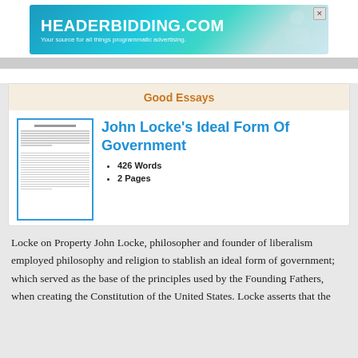[Figure (screenshot): Advertisement banner for HEADERBIDDING.COM with tagline 'Your source for all things programmatic advertising.']
Good Essays
John Locke's Ideal Form Of Government
426 Words
2 Pages
Locke on Property John Locke, philosopher and founder of liberalism employed philosophy and religion to stablish an ideal form of government; which served as the base of the principles used by the Founding Fathers, when creating the Constitution of the United States. Locke asserts that the